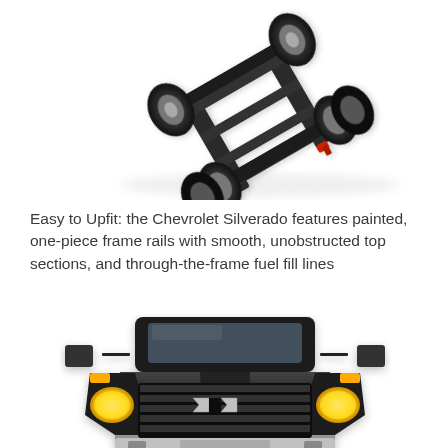[Figure (photo): Overhead angled view of a truck chassis/frame with wheels, frame rails, and mechanical components visible against a white background]
Easy to Upfit: the Chevrolet Silverado features painted, one-piece frame rails with smooth, unobstructed top sections, and through-the-frame fuel fill lines
[Figure (photo): Front view of a Chevrolet Silverado truck showing the grille with Bowtie logo, headlights, and front bumper against a white background]